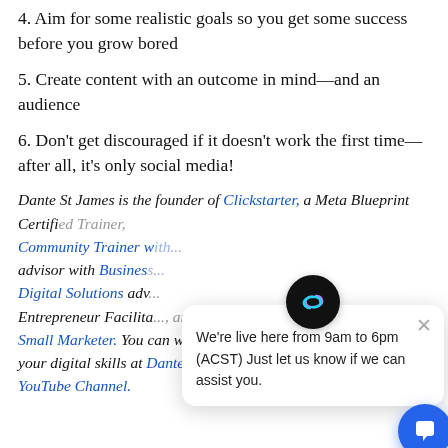4. Aim for some realistic goals so you get some success before you grow bored
5. Create content with an outcome in mind—and an audience
6. Don't get discouraged if it doesn't work the first time—after all, it's only social media!
Dante St James is the founder of Clickstarter, a Meta Blueprint Certified Trainer, Community Trainer w[...], advisor with Business [...] Digital Solutions adv[...] Entrepreneur Facilita[...], and the author of The Small Marketer. You can watch free 1-hour webinars and grow your digital skills at Dante's YouTube Channel.
[Figure (other): Chat widget overlay with Clickstarter logo icon and message: We're live here from 9am to 6pm (ACST) Just let us know if we can assist you. Blue chat button in bottom right corner.]